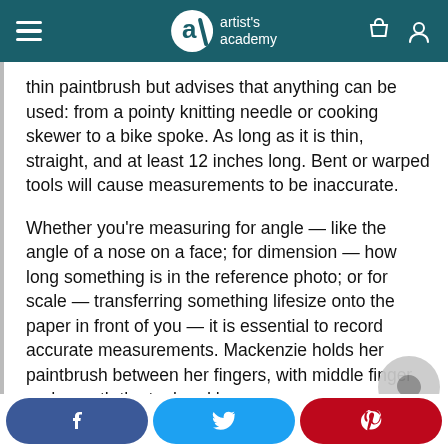artist's academy
thin paintbrush but advises that anything can be used: from a pointy knitting needle or cooking skewer to a bike spoke. As long as it is thin, straight, and at least 12 inches long. Bent or warped tools will cause measurements to be inaccurate.
Whether you're measuring for angle — like the angle of a nose on a face; for dimension — how long something is in the reference photo; or for scale — transferring something lifesize onto the paper in front of you — it is essential to record accurate measurements. Mackenzie holds her paintbrush between her fingers, with middle finger underneath the tool and her
f  [Twitter bird]  p